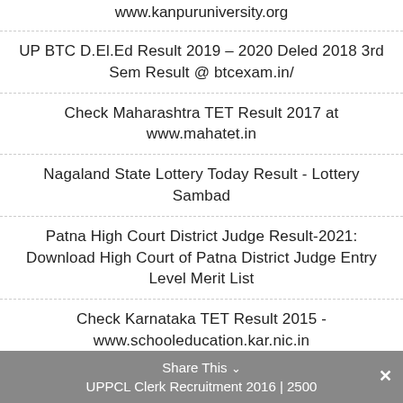www.kanpuruniversity.org
UP BTC D.El.Ed Result 2019 – 2020 Deled 2018 3rd Sem Result @ btcexam.in/
Check Maharashtra TET Result 2017 at www.mahatet.in
Nagaland State Lottery Today Result - Lottery Sambad
Patna High Court District Judge Result-2021: Download High Court of Patna District Judge Entry Level Merit List
Check Karnataka TET Result 2015 - www.schooleducation.kar.nic.in
Share This
UPPCL Clerk Recruitment 2016 | 2500